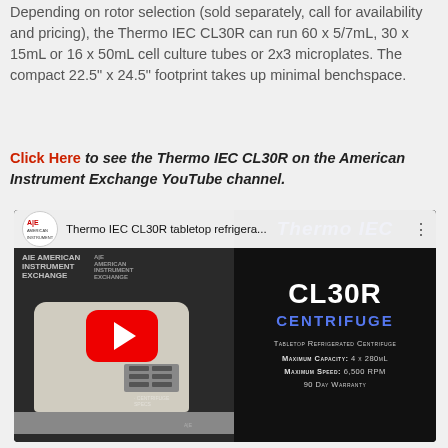Depending on rotor selection (sold separately, call for availability and pricing), the Thermo IEC CL30R can run 60 x 5/7mL, 30 x 15mL or 16 x 50mL cell culture tubes or 2x3 microplates. The compact 22.5" x 24.5" footprint takes up minimal benchspace.
Click Here to see the Thermo IEC CL30R on the American Instrument Exchange YouTube channel.
[Figure (screenshot): YouTube video thumbnail for 'Thermo IEC CL30R tabletop refrigera...' showing a tabletop refrigerated centrifuge on the left with AIE American Instrument Exchange branding, and on the right: CL30R CENTRIFUGE, Tabletop Refrigerated Centrifuge, Maximum Capacity: 4 x 280mL, Maximum Speed: 6,500 RPM, 90 Day Warranty. A red YouTube play button is overlaid in the center.]